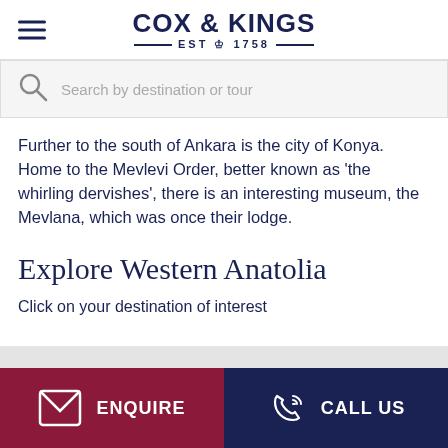COX & KINGS — EST 1758 —
Search by destination or tour
Further to the south of Ankara is the city of Konya. Home to the Mevlevi Order, better known as 'the whirling dervishes', there is an interesting museum, the Mevlana, which was once their lodge.
Explore Western Anatolia
Click on your destination of interest
ENQUIRE   CALL US